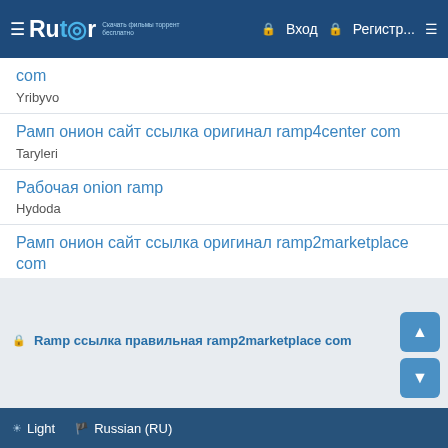Rutor | Вход | Регистр...
com
Yribyvo
Рамп онион сайт ссылка оригинал ramp4center com
Taryleri
Рабочая onion ramp
Hydoda
Рамп онион сайт ссылка оригинал ramp2marketplace com
Qiryjiw
Рамп вход ramp onion
Parani
Ramp ссылка правильная ramp2marketplace com
Light | Russian (RU)